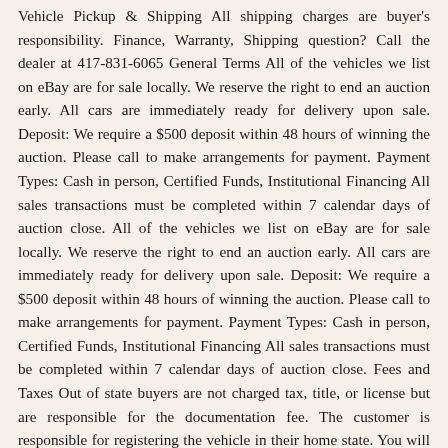Vehicle Pickup & Shipping All shipping charges are buyer's responsibility. Finance, Warranty, Shipping question? Call the dealer at 417-831-6065 General Terms All of the vehicles we list on eBay are for sale locally. We reserve the right to end an auction early. All cars are immediately ready for delivery upon sale. Deposit: We require a $500 deposit within 48 hours of winning the auction. Please call to make arrangements for payment. Payment Types: Cash in person, Certified Funds, Institutional Financing All sales transactions must be completed within 7 calendar days of auction close. All of the vehicles we list on eBay are for sale locally. We reserve the right to end an auction early. All cars are immediately ready for delivery upon sale. Deposit: We require a $500 deposit within 48 hours of winning the auction. Please call to make arrangements for payment. Payment Types: Cash in person, Certified Funds, Institutional Financing All sales transactions must be completed within 7 calendar days of auction close. Fees and Taxes Out of state buyers are not charged tax, title, or license but are responsible for the documentation fee. The customer is responsible for registering the vehicle in their home state. You will receive 30-day in-transit tags. We can assist with shipping